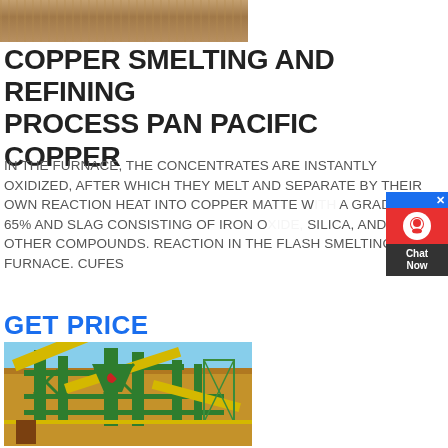[Figure (photo): Aerial/outdoor photo of dry earthen/desert terrain at the top of page]
COPPER SMELTING AND REFINING PROCESS PAN PACIFIC COPPER
IN THE FURNACE, THE CONCENTRATES ARE INSTANTLY OXIDIZED, AFTER WHICH THEY MELT AND SEPARATE BY THEIR OWN REACTION HEAT INTO COPPER MATTE WITH A GRADE OF 65% AND SLAG CONSISTING OF IRON OXIDE, SILICA, AND OTHER COMPOUNDS. REACTION IN THE FLASH SMELTING FURNACE. CUFES
GET PRICE
[Figure (photo): Industrial mining/processing equipment - large green and yellow conveyor/screening plant structure on red earth ground with blue sky background]